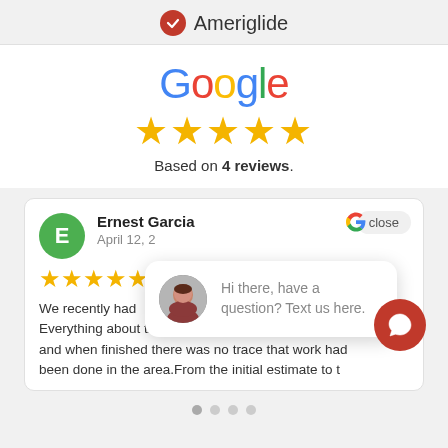[Figure (logo): Ameriglide badge with red checkmark circle and text 'Ameriglide']
[Figure (logo): Google logo in multicolor letters with 5 gold stars and text 'Based on 4 reviews.']
Based on 4 reviews.
Ernest Garcia
April 12, 2
We recently had Everything about this installation was quality, expertis and when finished there was no trace that work had been done in the area.From the initial estimate to t
Hi there, have a question? Text us here.